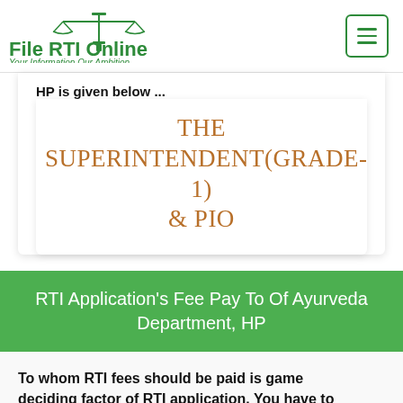[Figure (logo): File RTI Online logo with scales of justice icon and tagline 'Your Information Our Ambition' in green]
HP is given below ...
THE SUPERINTENDENT(GRADE-1) & PIO
RTI Application's Fee Pay To Of Ayurveda Department, HP
To whom RTI fees should be paid is game deciding factor of RTI application. You have to